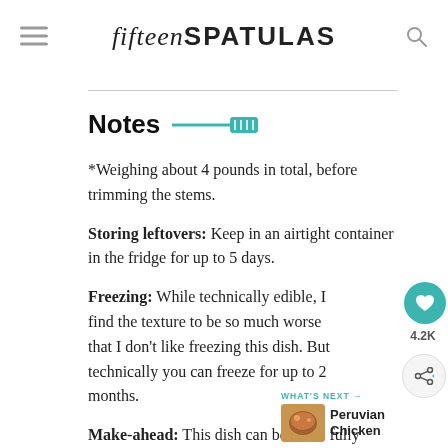fifteenSPATULAS
Notes
*Weighing about 4 pounds in total, before trimming the stems.
Storing leftovers: Keep in an airtight container in the fridge for up to 5 days.
Freezing: While technically edible, I find the texture to be so much worse that I don't like freezing this dish. But technically you can freeze for up to 2 months.
Make-ahead: This dish can be made fully